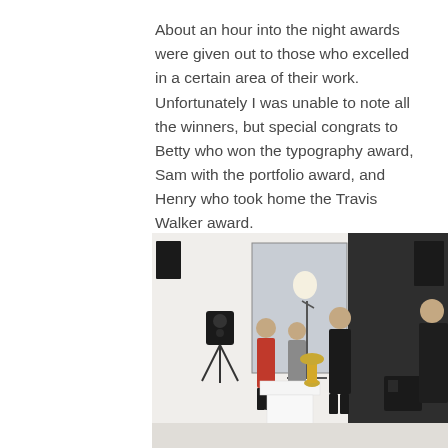About an hour into the night awards were given out to those who excelled in a certain area of their work. Unfortunately I was unable to note all the winners, but special congrats to Betty who won the typography award, Sam with the portfolio award, and Henry who took home the Travis Walker award.
[Figure (photo): Indoor event photo showing people at an awards ceremony in a white-walled gallery space. A person in a red dress stands at a podium/lectern area, another person in grey stands nearby, and a man in dark clothing stands to the right. A speaker on a tripod stand is visible on the left. A white pedestal with a golden trophy is in the foreground. Another person in a dark suit is partially visible at the far right edge.]